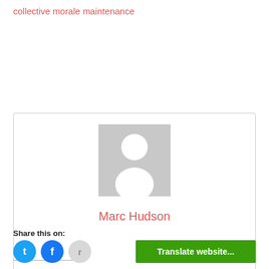collective morale maintenance
[Figure (illustration): Generic avatar placeholder image — grey square with white silhouette of a person (head and shoulders)]
Marc Hudson
Share this on:
[Figure (other): Social share icons: Twitter (blue circle), Facebook (blue circle), Reddit (light grey circle)]
Translate website...